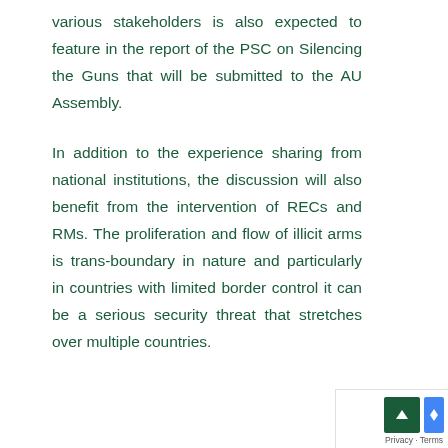various stakeholders is also expected to feature in the report of the PSC on Silencing the Guns that will be submitted to the AU Assembly.

In addition to the experience sharing from national institutions, the discussion will also benefit from the intervention of RECs and RMs. The proliferation and flow of illicit arms is trans-boundary in nature and particularly in countries with limited border control it can be a serious security threat that stretches over multiple countries.